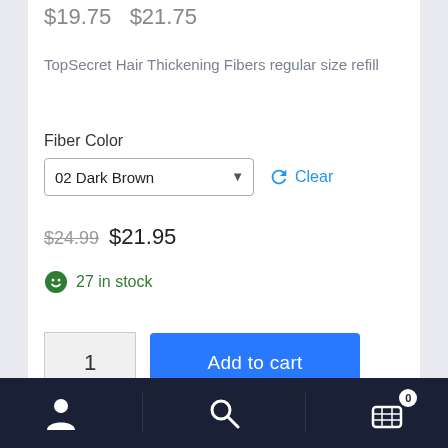$19.75  $21.75
TopSecret Hair Thickening Fibers regular size refill
Fiber Color
02 Dark Brown
Clear
$24.99  $21.95
27 in stock
1
Add to cart